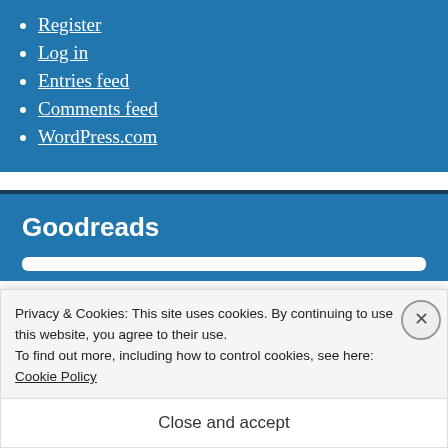Register
Log in
Entries feed
Comments feed
WordPress.com
Goodreads
Privacy & Cookies: This site uses cookies. By continuing to use this website, you agree to their use.
To find out more, including how to control cookies, see here: Cookie Policy
Close and accept